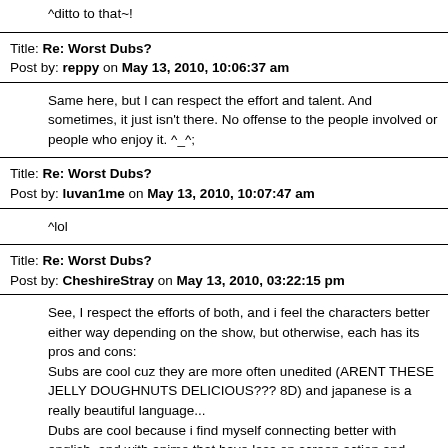^ditto to that~!
Title: Re: Worst Dubs?
Post by: reppy on May 13, 2010, 10:06:37 am
Same here, but I can respect the effort and talent.  And sometimes, it just isn't there.  No offense to the people involved or people who enjoy it. ^_^;
Title: Re: Worst Dubs?
Post by: luvan1me on May 13, 2010, 10:07:47 am
^lol
Title: Re: Worst Dubs?
Post by: CheshireStray on May 13, 2010, 03:22:15 pm
See, I respect the efforts of both, and i feel the characters better either way depending on the show, but otherwise, each has its pros and cons:
Subs are cool cuz they are more often unedited (ARENT THESE JELLY DOUGHNUTS DELICIOUS??? 8D) and japanese is a really beautiful language...
Dubs are cool because i find myself connecting better with english, and with anime that have less on screen action and more talking (like Death Note) i can multitask and enjoy the